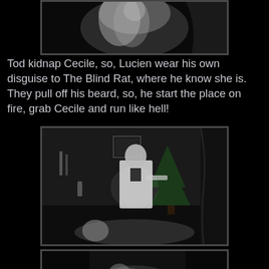[Figure (photo): Black and white film still at top of page, partially visible, showing a figure with light background]
Tod kidnap Cecile, so, Lucien wear his own disguise to The Blind Rat, where he know she is. They pull off his beard, so, he start the place on fire, grab Cecile and run like hell!
[Figure (photo): Black and white film still showing a man in white clothing leaning over a person lying down, with a Christmas tree visible in background, dark room setting]
[Figure (photo): Black and white film still at bottom of page, partially cut off, showing a figure in dark setting]